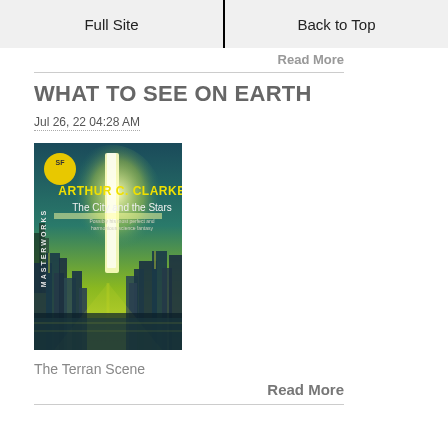Full Site | Back to Top
Read More
WHAT TO SEE ON EARTH
Jul 26, 22 04:28 AM
[Figure (photo): Book cover of 'The City and the Stars' by Arthur C. Clarke, SF Masterworks edition. Shows a futuristic city with tall spires under a glowing sky, teal/yellow color scheme.]
The Terran Scene
Read More